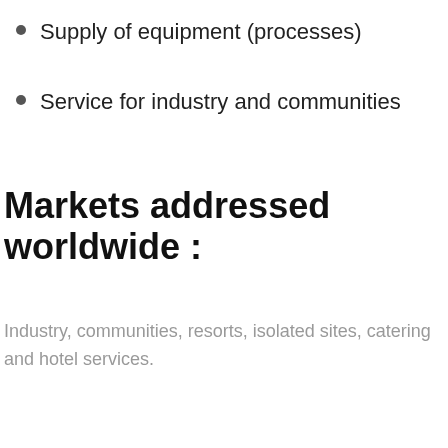Supply of equipment (processes)
Service for industry and communities
Markets addressed worldwide :
Industry, communities, resorts, isolated sites, catering and hotel services.